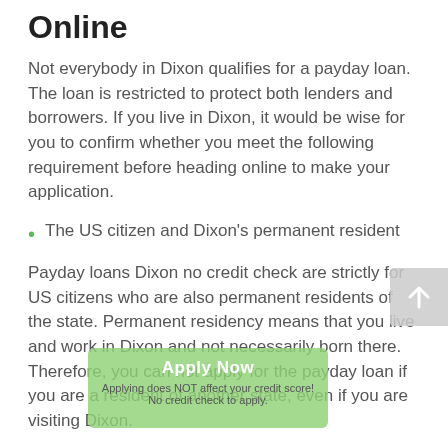Online
Not everybody in Dixon qualifies for a payday loan. The loan is restricted to protect both lenders and borrowers. If you live in Dixon, it would be wise for you to confirm whether you meet the following requirement before heading online to make your application.
The US citizen and Dixon's permanent resident
Payday loans Dixon no credit check are strictly for US citizens who are also permanent residents of the state. Permanent residency means that you live and work in Dixon and not necessarily born there. Therefore, you can not apply for the payday loan if you are a resident of another state, even if you are visiting Dixon.
You must be at least 18 years old to qualify for best payday loans in Dixon
Now that you are a permanent resident of Dixon, the next